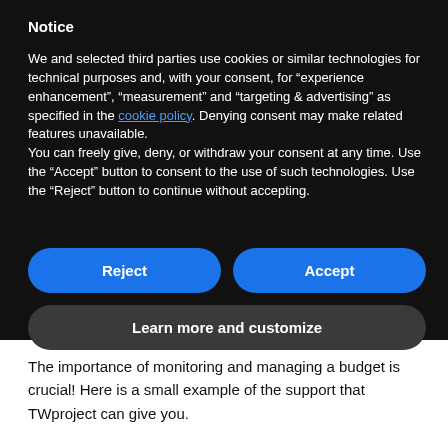Notice
We and selected third parties use cookies or similar technologies for technical purposes and, with your consent, for “experience enhancement”, “measurement” and “targeting & advertising” as specified in the cookie policy. Denying consent may make related features unavailable.
You can freely give, deny, or withdraw your consent at any time. Use the “Accept” button to consent to the use of such technologies. Use the “Reject” button to continue without accepting.
Reject
Accept
Learn more and customize
The importance of monitoring and managing a budget is crucial! Here is a small example of the support that TWproject can give you.